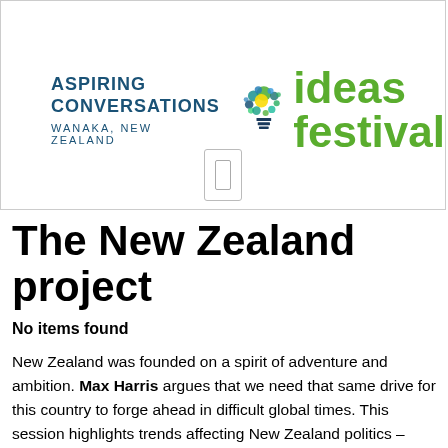[Figure (logo): Aspiring Conversations Wanaka New Zealand and Ideas Festival logo with colorful lightbulb graphic]
The New Zealand project
No items found
New Zealand was founded on a spirit of adventure and ambition. Max Harris argues that we need that same drive for this country to forge ahead in difficult global times. This session highlights trends affecting New Zealand politics – celebrity culture, demographic change, the rise of the Internet – and springboards off these to suggest a principled